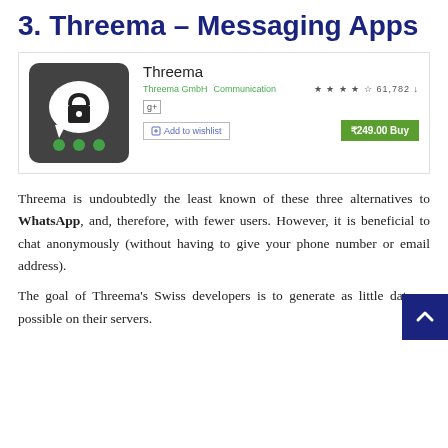3. Threema – Messaging Apps
[Figure (screenshot): Google Play Store listing for Threema app showing app icon (dark background with lock icon speech bubble and green dots), app name 'Threema', developer 'Threema GmbH', category 'Communication', star rating 4 stars with 61,782 ratings, G+ badge, Add to wishlist button, and ₹249.00 Buy button]
Threema is undoubtedly the least known of these three alternatives to WhatsApp, and, therefore, with fewer users. However, it is beneficial to chat anonymously (without having to give your phone number or email address).
The goal of Threema's Swiss developers is to generate as little data as possible on their servers.